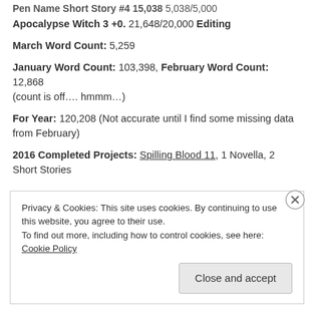Pen Name Short Story #4 15,038 5,038/5,000
Apocalypse Witch 3 +0. 21,648/20,000 Editing
March Word Count: 5,259
January Word Count: 103,398, February Word Count: 12,868 (count is off…. hmmm…)
For Year: 120,208 (Not accurate until I find some missing data from February)
2016 Completed Projects: Spilling Blood 11, 1 Novella, 2 Short Stories
Privacy & Cookies: This site uses cookies. By continuing to use this website, you agree to their use.
To find out more, including how to control cookies, see here: Cookie Policy
Close and accept